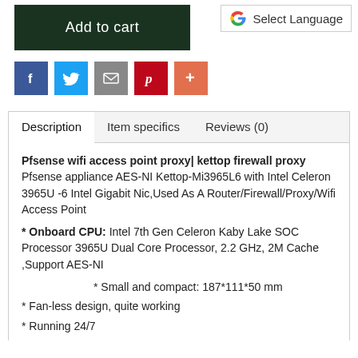[Figure (other): Add to cart button (dark green)]
[Figure (other): Google Select Language button]
[Figure (other): Social sharing icons: Facebook, Twitter, Email, Pinterest, Plus]
Description	Item specifics	Reviews (0)
Pfsense wifi access point proxy| kettop firewall proxy
Pfsense appliance AES-NI Kettop-Mi3965L6 with Intel Celeron 3965U -6 Intel Gigabit Nic,Used As A Router/Firewall/Proxy/Wifi Access Point
* Onboard CPU: Intel 7th Gen Celeron Kaby Lake SOC Processor 3965U Dual Core Processor, 2.2 GHz, 2M Cache ,Support AES-NI
* Small and compact: 187*111*50 mm
* Fan-less design, quite working
* Running 24/7